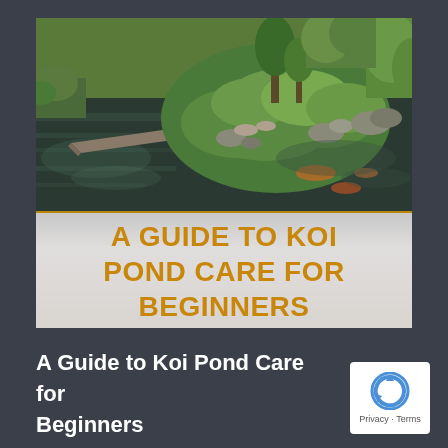[Figure (photo): A Japanese koi pond with a mossy island, stepping stone bridge, dark water with koi fish visible, surrounded by lush green vegetation and rocks. Overlaid at the bottom with a stone-textured banner reading 'A GUIDE TO KOI POND CARE FOR BEGINNERS' in bold orange uppercase letters on a gray background with gold border lines.]
A Guide to Koi Pond Care for Beginners